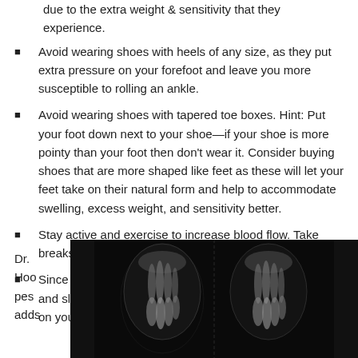due to the extra weight & sensitivity that they experience.
Avoid wearing shoes with heels of any size, as they put extra pressure on your forefoot and leave you more susceptible to rolling an ankle.
Avoid wearing shoes with tapered toe boxes. Hint: Put your foot down next to your shoe—if your shoe is more pointy than your foot then don't wear it. Consider buying shoes that are more shaped like feet as these will let your feet take on their natural form and help to accommodate swelling, excess weight, and sensitivity better.
Stay active and exercise to increase blood flow. Take breaks from sitting more often.
Since your growing uterus puts pressure on your veins, and slows blood to the heart, causing swelling—try lying on your back with your feet elevated for 10-15 minutes.
Dr. Hoopes adds
[Figure (photo): X-ray image showing two feet, displayed side by side on a dark background, with bones of the toes and forefoot visible.]